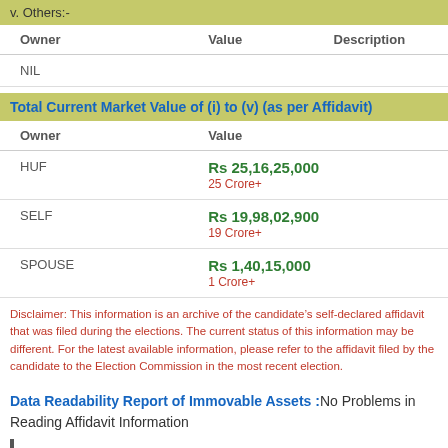v. Others:-
| Owner | Value | Description |
| --- | --- | --- |
| NIL |  |  |
Total Current Market Value of (i) to (v) (as per Affidavit)
| Owner | Value |
| --- | --- |
| HUF | Rs 25,16,25,000
25 Crore+ |
| SELF | Rs 19,98,02,900
19 Crore+ |
| SPOUSE | Rs 1,40,15,000
1 Crore+ |
Disclaimer: This information is an archive of the candidate’s self-declared affidavit that was filed during the elections. The current status of this information may be different. For the latest available information, please refer to the affidavit filed by the candidate to the Election Commission in the most recent election.
Data Readability Report of Immovable Assets :No Problems in Reading Affidavit Information